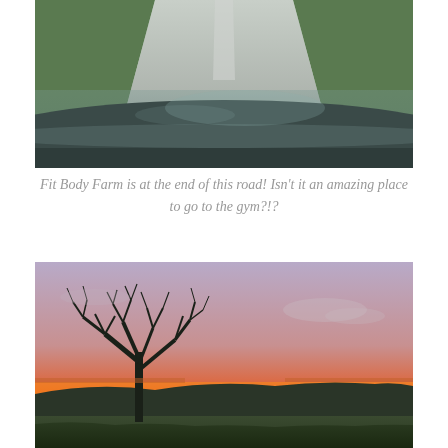[Figure (photo): View from inside a car looking through the windshield at a narrow country road stretching ahead, flanked by green grass verges. The dashboard and windscreen frame are visible in the foreground.]
Fit Body Farm is at the end of this road! Isn't it an amazing place to go to the gym?!?
[Figure (photo): A dramatic sunset landscape with a vivid orange and yellow horizon glow beneath a purple-grey sky. A large bare tree silhouette stands on the left, with rolling green fields and distant hills in the background.]